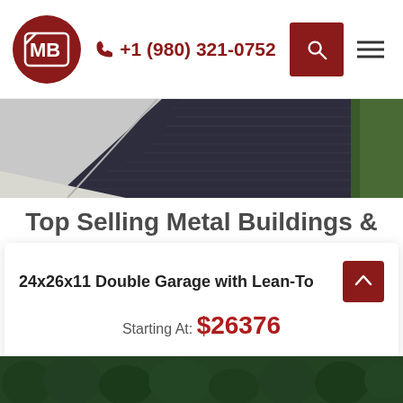+1 (980) 321-0752
[Figure (screenshot): Hero image showing a dark asphalt/gravel driveway with green hedges on the right and a light-colored surface on the left]
Top Selling Metal Buildings & Horse Barns Lemoyne Pennsylvania
Showing 1–10 of 361 results
Sort by: Default sorting
24x26x11 Double Garage with Lean-To
Starting At: $26376
[Figure (photo): Bottom strip showing aerial view of trees/forest]